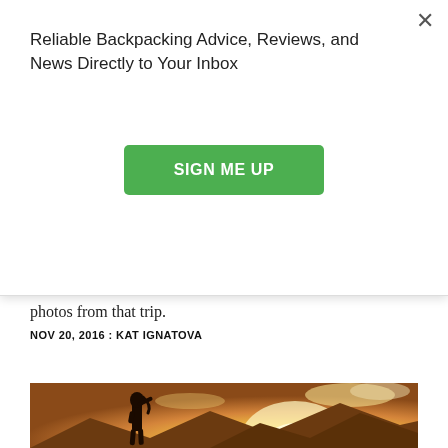Reliable Backpacking Advice, Reviews, and News Directly to Your Inbox
SIGN ME UP
photos from that trip.
NOV 20, 2016 : KAT IGNATOVA
[Figure (photo): Silhouette of a person standing and shading their eyes looking into a bright golden sunset over mountains, with dramatic clouds in the sky.]